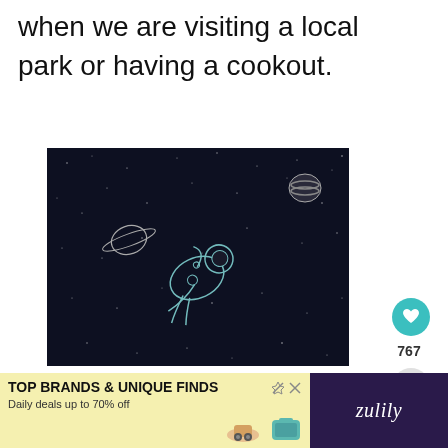when we are visiting a local park or having a cookout.
[Figure (illustration): White line-art illustration of an astronaut floating in space on a dark navy background, with Saturn-like ringed planet on the left and a striped planet on the upper right, along with scattered stars.]
767
WHAT'S NEXT → Easy Beef Stew Recipe
[Figure (infographic): Advertisement banner for Zulily: TOP BRANDS & UNIQUE FINDS, Daily deals up to 70% off, with product images of shoes and a teal bag, and Zulily logo on dark right panel.]